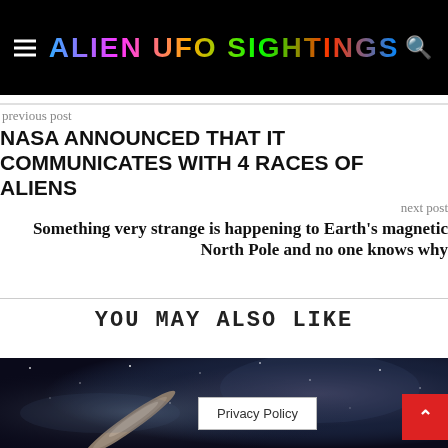ALIEN UFO SIGHTINGS
previous post
NASA ANNOUNCED THAT IT COMMUNICATES WITH 4 RACES OF ALIENS
next post
Something very strange is happening to Earth's magnetic North Pole and no one knows why
YOU MAY ALSO LIKE
[Figure (photo): Dark space/astronomy image showing what appears to be an elongated object (possibly Oumuamua or similar interstellar object) against a starfield with nebula background]